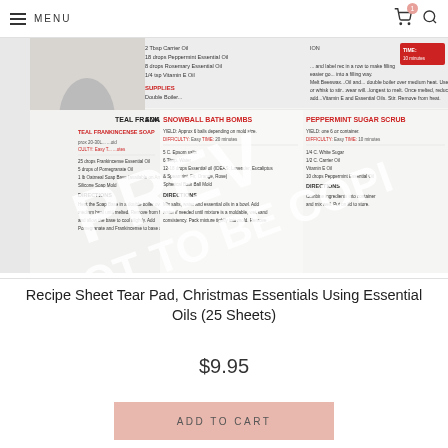MENU
[Figure (photo): Recipe Sheet Tear Pad product image showing Christmas Essential Oils recipes with a PREVIEW NOT TO BE COPIED watermark overlaid. The recipes shown include Teal Frankincense Soap, Snowball Bath Bombs, and Peppermint Sugar Scrub sections with ingredients and directions.]
Recipe Sheet Tear Pad, Christmas Essentials Using Essential Oils (25 Sheets)
$9.95
ADD TO CART